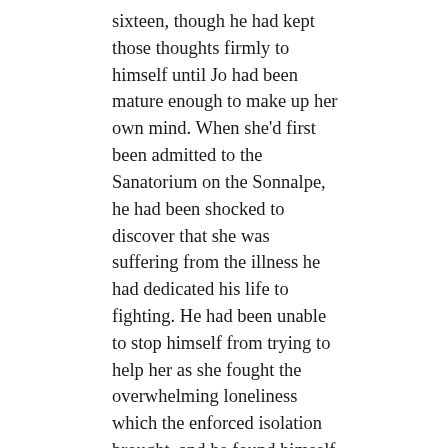sixteen, though he had kept those thoughts firmly to himself until Jo had been mature enough to make up her own mind. When she'd first been admitted to the Sanatorium on the Sonnalpe, he had been shocked to discover that she was suffering from the illness he had dedicated his life to fighting. He had been unable to stop himself from trying to help her as she fought the overwhelming loneliness which the enforced isolation brought, and he found himself wanting to spend even more time in her company. However hard he tried to keep his